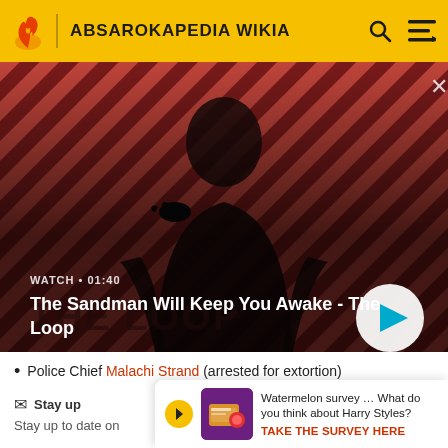ABSAROKAPEDIA WIKIA
[Figure (screenshot): Video banner showing a dark-cloaked figure with a crow on shoulder against a red diagonal-striped background. Title: 'The Sandman Will Keep You Awake - The Loop'. Duration: 01:40. Play button visible.]
Police Chief Malachi Strand (arrested for extortion)
Stay up
Stay up to date on
[Figure (advertisement): Ad overlay: Watermelon survey ... What do you think about Harry Styles? TAKE THE SURVEY HERE]